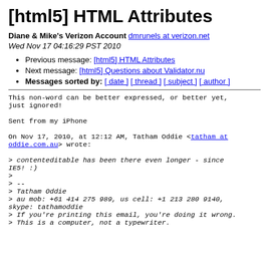[html5] HTML Attributes
Diane & Mike's Verizon Account dmrunels at verizon.net
Wed Nov 17 04:16:29 PST 2010
Previous message: [html5] HTML Attributes
Next message: [html5] Questions about Validator.nu
Messages sorted by: [ date ] [ thread ] [ subject ] [ author ]
This non-word can be better expressed, or better yet, just ignored!

Sent from my iPhone

On Nov 17, 2010, at 12:12 AM, Tatham Oddie <tatham at oddie.com.au> wrote:

> contenteditable has been there even longer - since IE5! :)
>
> --
> Tatham Oddie
> au mob: +61 414 275 989, us cell: +1 213 280 9140, skype: tathamoddie
> If you're printing this email, you're doing it wrong.
> This is a computer, not a typewriter.